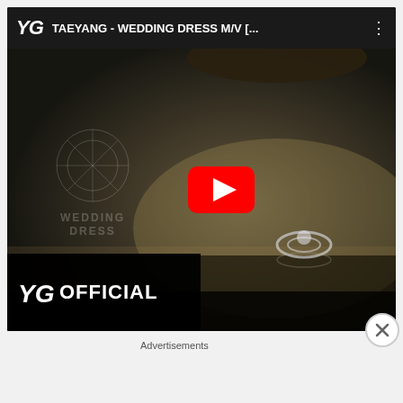[Figure (screenshot): YouTube embedded video player showing TAEYANG - WEDDING DRESS M/V with YG logo, video title in top bar, dark cinematic thumbnail with a ring on reflective surface, WEDDING DRESS text watermark, YouTube play button, and YG OFFICIAL branding in lower left corner]
Advertisements
[Figure (screenshot): MAC Cosmetics advertisement banner showing colorful lipsticks on left, MAC logo in center, and SHOP NOW button on right with a red lipstick]